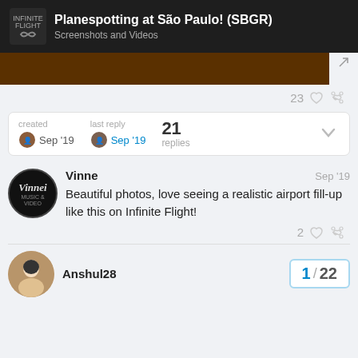Planespotting at São Paulo! (SBGR) — Screenshots and Videos
[Figure (screenshot): Dark brown/orange image bar with expand icon]
23 likes and share icons
created Sep '19   last reply Sep '19   21 replies
Vinne  Sep '19
Beautiful photos, love seeing a realistic airport fill-up like this on Infinite Flight!
2 likes and share icons
Anshul28   1 / 22